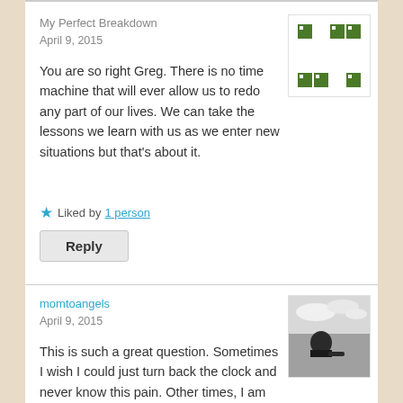My Perfect Breakdown
April 9, 2015
[Figure (logo): Green and white pixel/checkerboard pattern avatar for My Perfect Breakdown]
You are so right Greg. There is no time machine that will ever allow us to redo any part of our lives. We can take the lessons we learn with us as we enter new situations but that's about it.
Liked by 1 person
Reply
momtoangels
April 9, 2015
[Figure (photo): Black and white photo of a person looking out over water, seen from behind]
This is such a great question. Sometimes I wish I could just turn back the clock and never know this pain. Other times, I am just thankful for knowing the joy of pregnancy. Your words are perfect.